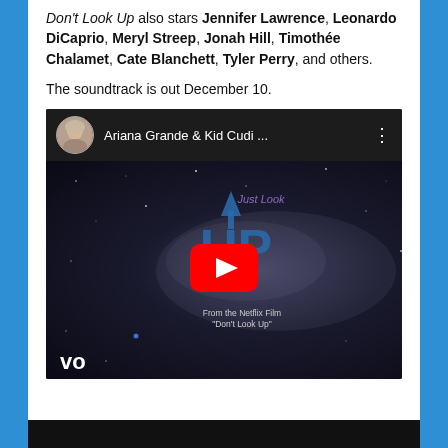Don't Look Up also stars Jennifer Lawrence, Leonardo DiCaprio, Meryl Streep, Jonah Hill, Timothée Chalamet, Cate Blanchett, Tyler Perry, and others.

The soundtrack is out December 10.
[Figure (screenshot): YouTube video embed showing Ariana Grande & Kid Cudi music video titled 'Just Look Up' from the Netflix Film Don't Look Up, with Vevo branding. Dark space-themed background with blue arrow graphic and red YouTube play button.]